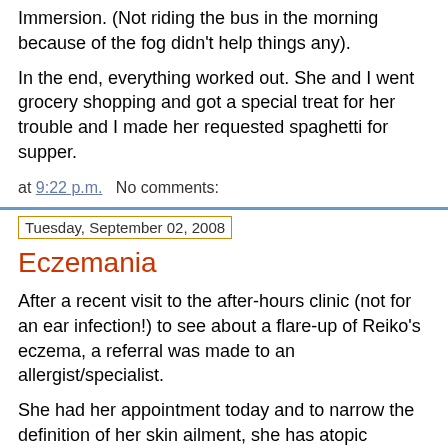Immersion. (Not riding the bus in the morning because of the fog didn't help things any).
In the end, everything worked out. She and I went grocery shopping and got a special treat for her trouble and I made her requested spaghetti for supper.
at 9:22 p.m.    No comments:
Tuesday, September 02, 2008
Eczemania
After a recent visit to the after-hours clinic (not for an ear infection!) to see about a flare-up of Reiko's eczema, a referral was made to an allergist/specialist.
She had her appointment today and to narrow the definition of her skin ailment, she has atopic dermatitis. Thank goodness we're not in biblical times when leprosy would be have been the diagnosis.